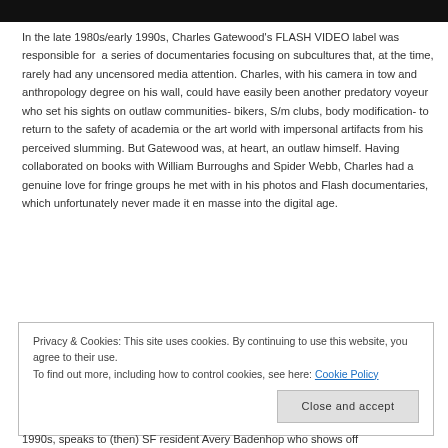[Figure (photo): Black bar at top of page]
In the late 1980s/early 1990s, Charles Gatewood's FLASH VIDEO label was responsible for  a series of documentaries focusing on subcultures that, at the time, rarely had any uncensored media attention. Charles, with his camera in tow and anthropology degree on his wall, could have easily been another predatory voyeur who set his sights on outlaw communities- bikers, S/m clubs, body modification- to return to the safety of academia or the art world with impersonal artifacts from his perceived slumming. But Gatewood was, at heart, an outlaw himself. Having collaborated on books with William Burroughs and Spider Webb, Charles had a genuine love for fringe groups he met with in his photos and Flash documentaries, which unfortunately never made it en masse into the digital age.
Privacy & Cookies: This site uses cookies. By continuing to use this website, you agree to their use.
To find out more, including how to control cookies, see here: Cookie Policy
Close and accept
1990s, speaks to (then) SF resident Avery Badenhop who shows off